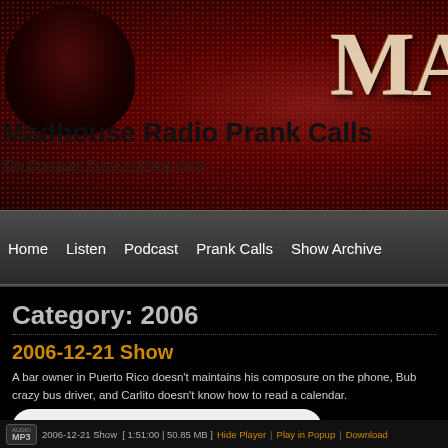[Figure (screenshot): Madhouse Radio Prank Calls website header banner with dark red halftone pattern background, fist silhouette on left, large MADHO text on right]
Madhouse Radio Prank Calls
The Dominant Force in Prank Calls
Home | Listen | Podcast | Prank Calls | Show Archive
Category: 2006
2006-12-21 Show
A bar owner in Puerto Rico doesn't maintains his composure on the phone, Bub crazy bus driver, and Carlito doesn't know how to read a calendar.
[Figure (other): HTML5 audio player showing 0:00 / 0:00]
AUDIO MP3  2006-12-21 Show  [ 1:51:00 | 50.85 MB ]  Hide Player | Play in Popup | Download